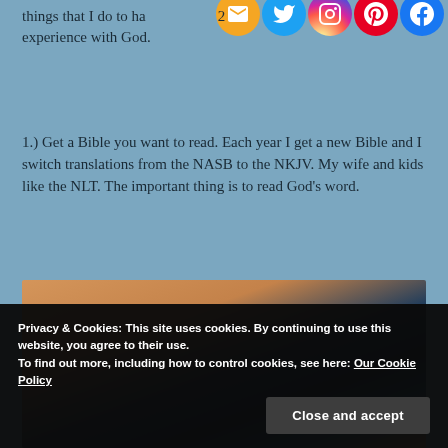things that I do to have a deeper experience with God.
1.) Get a Bible you want to read. Each year I get a new Bible and I switch translations from the NASB to the NKJV. My wife and kids like the NLT. The important thing is to read God’s word.
[Figure (photo): Photo of a Bible on a wooden surface with orange/sandy background]
Privacy & Cookies: This site uses cookies. By continuing to use this website, you agree to their use. To find out more, including how to control cookies, see here: Our Cookie Policy